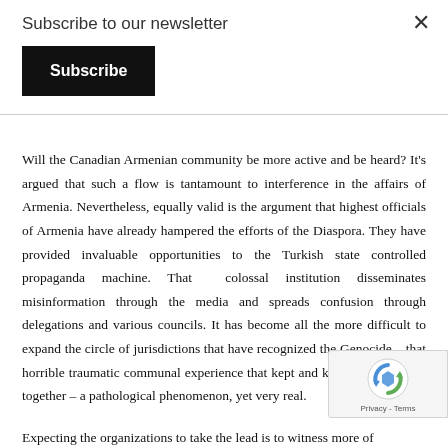Subscribe to our newsletter
Subscribe
Will the Canadian Armenian community be more active and be heard? It's argued that such a flow is tantamount to interference in the affairs of Armenia. Nevertheless, equally valid is the argument that highest officials of Armenia have already hampered the efforts of the Diaspora. They have provided invaluable opportunities to the Turkish state controlled propaganda machine. That colossal institution disseminates misinformation through the media and spreads confusion through delegations and various councils. It has become all the more difficult to expand the circle of jurisdictions that have recognized the Genocide – that horrible traumatic communal experience that kept and keeps the Diaspora together – a pathological phenomenon, yet very real.
Expecting the organizations to take the lead is to witness more of the same, for as long as individuals and coalitions in the organizations are working within their constraints on one and on the other side. The concern is that this...